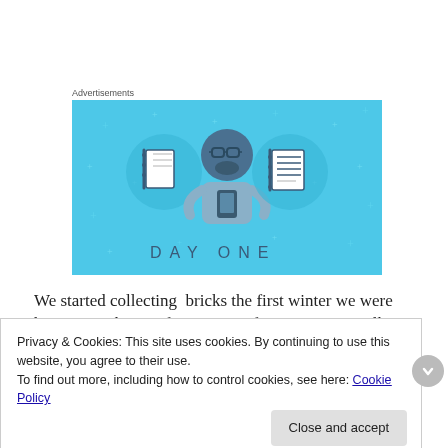Advertisements
[Figure (illustration): Day One app advertisement with light blue background showing a illustrated person wearing glasses and a t-shirt holding a phone, flanked by two circular icons of notebooks/journals. Text at bottom reads 'DAY ONE'.]
We started collecting  bricks the first winter we were here. Over that icy first winter of 2010/11, our walks
Privacy & Cookies: This site uses cookies. By continuing to use this website, you agree to their use.
To find out more, including how to control cookies, see here: Cookie Policy
Close and accept